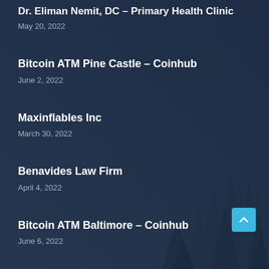Dr. Eliman Nemit, DC – Primary Health Clinic
May 20, 2022
Bitcoin ATM Pine Castle – Coinhub
June 2, 2022
Maxinflables Inc
March 30, 2022
Benavides Law Firm
April 4, 2022
Bitcoin ATM Baltimore – Coinhub
June 6, 2022
Okanagan Concrete Pros
May 14, 2022